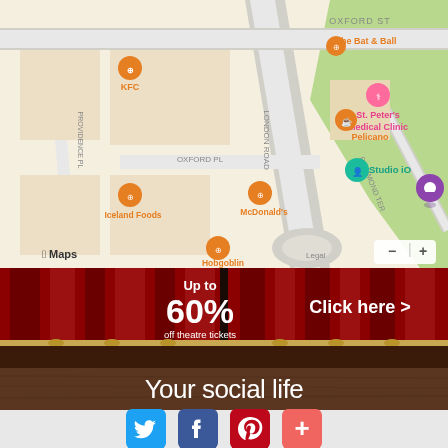[Figure (map): Apple Maps screenshot showing area around Oxford Street and London Road. Visible landmarks include KFC, The Bat & Ball, St. Peter's Medical Clinic, Pelicano, Studio iO, Iceland Foods, McDonald's, Hobgoblin. Streets visible: Oxford St, Oxford Pl, London Road, Providence Pl, Richmond Ter.]
[Figure (infographic): Advertisement banner: red theatre curtain background. Text: 'Up to 60% off theatre tickets'. Button: 'Click here >']
Your social life
[Figure (infographic): Social media share buttons: Twitter (blue bird), Facebook (blue f), Pinterest (red P), Plus/share (coral +)]